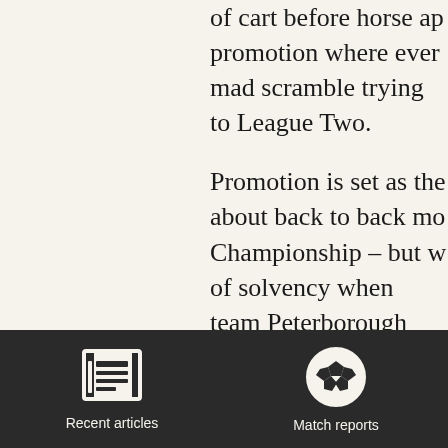of cart before horse ap promotion where ever mad scramble trying to League Two.
Promotion is set as the about back to back mo Championship – but w of solvency when tean Peterborough United a title. Those clubs spen
[Figure (other): Dark navigation bar with two icons: a newspaper icon labeled 'Recent articles' and a soccer ball icon labeled 'Match reports']